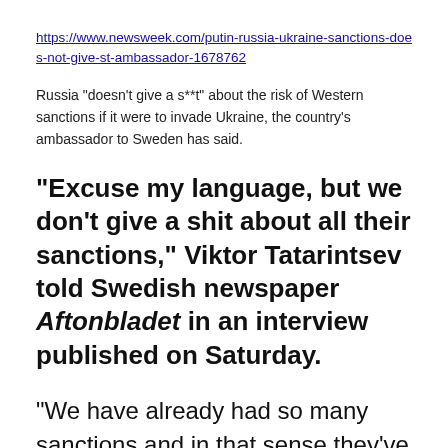https://www.newsweek.com/putin-russia-ukraine-sanctions-does-not-give-st-ambassador-1678762
Russia "doesn't give a s**t" about the risk of Western sanctions if it were to invade Ukraine, the country's ambassador to Sweden has said.
"Excuse my language, but we don't give a shit about all their sanctions," Viktor Tatarintsev told Swedish newspaper Aftonbladet in an interview published on Saturday.
"We have already had so many sanctions and in that sense they've had a positive effect on our economy and agriculture," the diplomat said, according to the AFP news